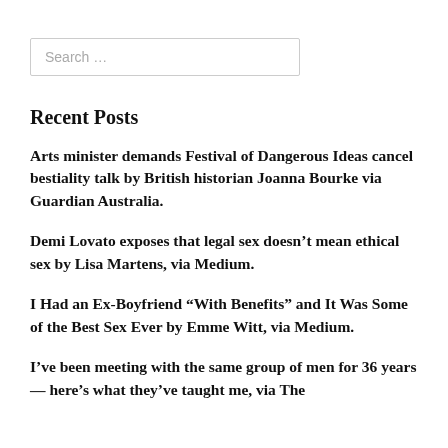[Figure (other): Search input box with placeholder text 'Search …']
Recent Posts
Arts minister demands Festival of Dangerous Ideas cancel bestiality talk by British historian Joanna Bourke via Guardian Australia.
Demi Lovato exposes that legal sex doesn't mean ethical sex by Lisa Martens, via Medium.
I Had an Ex-Boyfriend “With Benefits” and It Was Some of the Best Sex Ever by Emme Witt, via Medium.
I’ve been meeting with the same group of men for 36 years — here’s what they’ve taught me, via The